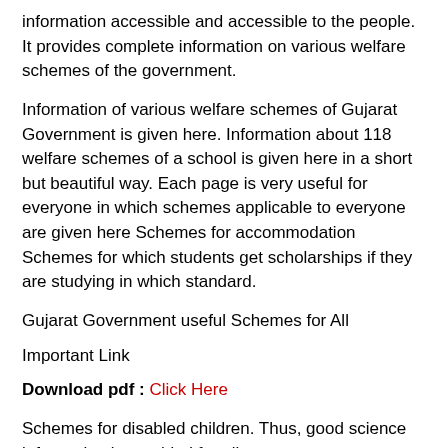information accessible and accessible to the people. It provides complete information on various welfare schemes of the government.
Information of various welfare schemes of Gujarat Government is given here. Information about 118 welfare schemes of a school is given here in a short but beautiful way. Each page is very useful for everyone in which schemes applicable to everyone are given here Schemes for accommodation Schemes for which students get scholarships if they are studying in which standard.
Gujarat Government useful Schemes for All
Important Link
Download pdf : Click Here
Schemes for disabled children. Thus, good science information is provided for all.